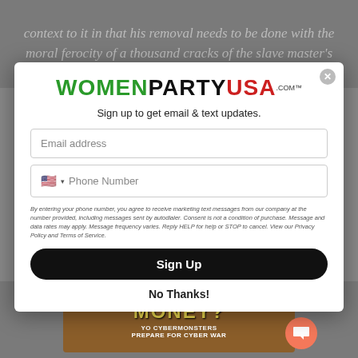[Figure (screenshot): Background blurred text reading: context to it in that his removal needs to be done with the moral ferocity of a thousand cracks of the slave master's]
[Figure (logo): WOMENPARTYUSA.COM logo with WOMEN in green, PARTY in black, USA in red, with .com superscript and TM mark]
Sign up to get email & text updates.
Email address
Phone Number
By entering your phone number, you agree to receive marketing text messages from our company at the number provided, including messages sent by autodialer. Consent is not a condition of purchase. Message and data rates may apply. Message frequency varies. Reply HELP for help or STOP to cancel. View our Privacy Policy and Terms of Service.
Sign Up
No Thanks!
[Figure (illustration): Bottom portion showing 'MONEY?' text in yellow on brown background with 'YO CYBERMONSTERS PREPARE FOR CYBER WAR' text and a cartoon character, plus a coral chat bubble icon]